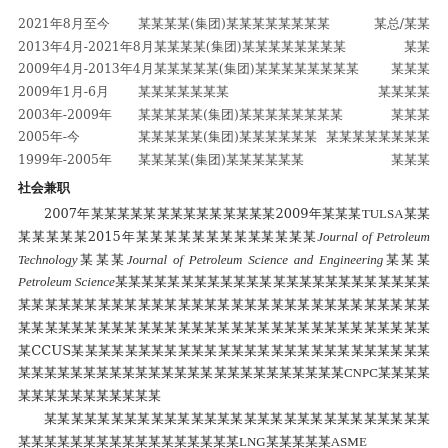2021年8月至今　　某某某某(集团)某某某某某某某某　　某总/某某
2013年4月-2021年8月　某某某某(集团)某某某某某某某某　某某
2009年4月-2013年4月　某某某某某(集团)某某某某某某某某　某某某
2009年1月-6月　某某某某某某某　　　某某某某
2003年-2009年　某某某某某(集团)某某某某某某某某　某某某
2005年-今　某某某某某(集团)某某某某某某　某某某某某某某某
1999年-2005年　某某某某(集团)某某某某某某　某某某
社会兼职
2007年某某某某某某某某某某某某某某2009年某某某TULSA某某某某某某某2015年某某某某某某某某某某某某某Journal of Petroleum Technology某某某Journal of Petroleum Science and Engineering某某某Petroleum Science某某某某某某某某某某某某某某某某某某某某某某某某某某某某某某某某某某某某某某某某某某某某某某某某某某某某某某某某某某某某某某某某某某某某CCUS某某某某某某某某某某某某某某某某某某某某某某某某某某某某某某某某某某某某某某某某某某某某某某某某某某某CNPC某某某某某某某某某某某某某某某
某某某某某某某某某某某某某某某某某某某某某某某某某某某某某某某某某某某某某某某某某某某某某某LNG某某某某某ASME